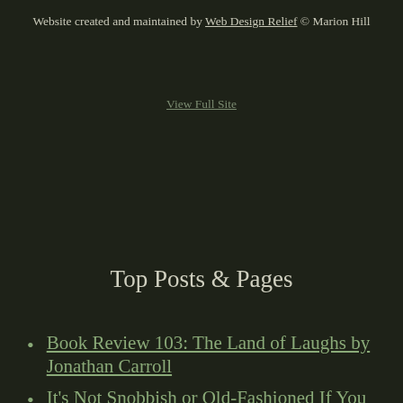Website created and maintained by Web Design Relief © Marion Hill
View Full Site
Top Posts & Pages
Book Review 103: The Land of Laughs by Jonathan Carroll
It's Not Snobbish or Old-Fashioned If You Still Prefer Reading A Book!
Book Review 139: The Artist's